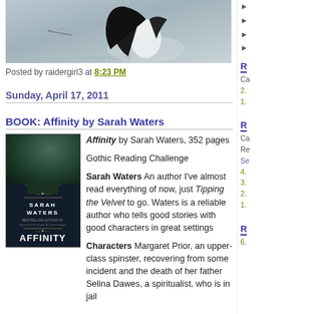[Figure (illustration): Top portion of a stylized illustration showing a girl with long black hair in a white dress, with a dragonfly, on a grey background]
Posted by raidergirl3 at 8:23 PM
Sunday, April 17, 2011
BOOK: Affinity by Sarah Waters
[Figure (photo): Book cover of Affinity by Sarah Waters - dark background with a figure, text SARAH WATERS AFFINITY]
Affinity by Sarah Waters, 352 pages

Gothic Reading Challenge

Sarah Waters An author I've almost read everything of now, just Tipping the Velvet to go. Waters is a reliable author who tells good stories with good characters in great settings

Characters Margaret Prior, an upper-class spinster, recovering from some incident and the death of her father
Selina Dawes, a spiritualist, who is in jail